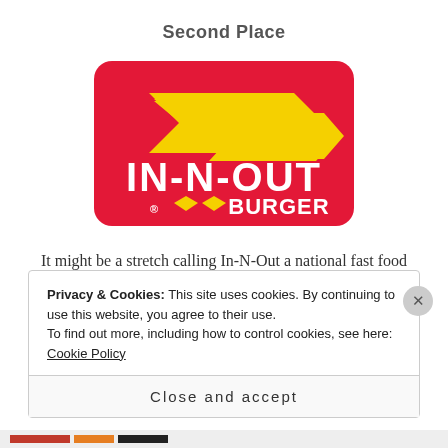Second Place
[Figure (logo): In-N-Out Burger logo — red rounded rectangle background with yellow arrow shapes and white bold text reading IN-N-OUT BURGER]
It might be a stretch calling In-N-Out a national fast food chain,
but they do have great, fresh brewed iced tea which is
Privacy & Cookies: This site uses cookies. By continuing to use this website, you agree to their use.
To find out more, including how to control cookies, see here: Cookie Policy
Close and accept